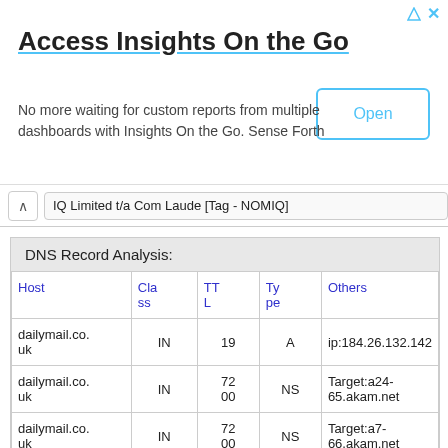[Figure (screenshot): Ad banner for 'Access Insights On the Go' with an Open button]
Access Insights On the Go
No more waiting for custom reports from multiple dashboards with Insights On the Go. Sense Forth
IQ Limited t/a Com Laude [Tag - NOMIQ]
| Host | Class | TTL | Type | Others |
| --- | --- | --- | --- | --- |
| dailymail.co.uk | IN | 19 | A | ip:184.26.132.142 |
| dailymail.co.uk | IN | 7200 | NS | Target:a24-65.akam.net |
| dailymail.co.uk | IN | 7200 | NS | Target:a7-66.akam.net |
| dailymail.co. | 72 |  |  |  |